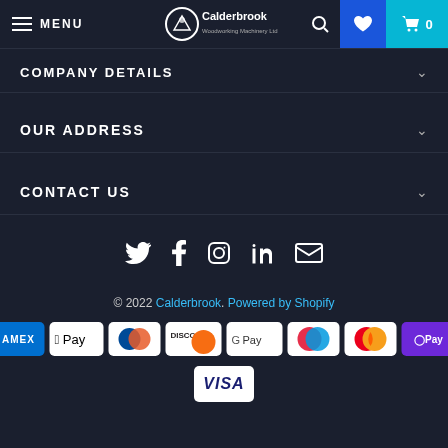MENU | Calderbrook Woodworking Machinery Ltd | Search | Wishlist | Cart 0
COMPANY DETAILS
OUR ADDRESS
CONTACT US
[Figure (infographic): Social media icons: Twitter, Facebook, Instagram, LinkedIn, Email]
© 2022 Calderbrook. Powered by Shopify
[Figure (infographic): Payment method logos: AMEX, Apple Pay, Diners Club, Discover, Google Pay, Maestro, Mastercard, OPay, Visa]